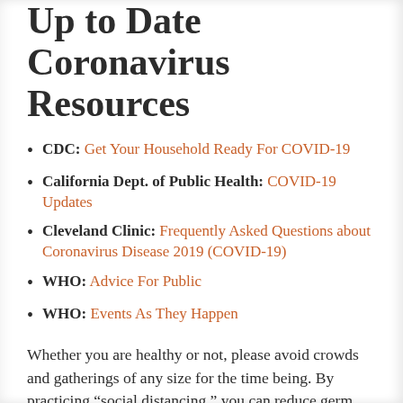Up to Date Coronavirus Resources
CDC: Get Your Household Ready For COVID-19
California Dept. of Public Health: COVID-19 Updates
Cleveland Clinic: Frequently Asked Questions about Coronavirus Disease 2019 (COVID-19)
WHO: Advice For Public
WHO: Events As They Happen
Whether you are healthy or not, please avoid crowds and gatherings of any size for the time being. By practicing “social distancing,” you can reduce germ transmission to others and help protect the most vulnerable members of our